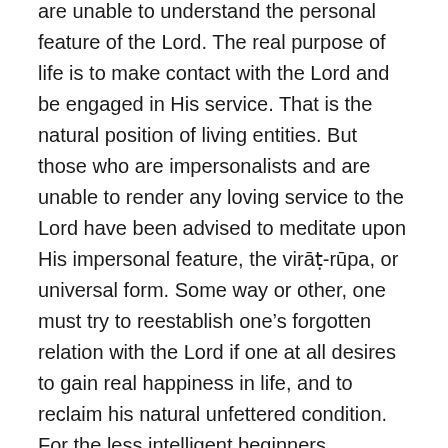are unable to understand the personal feature of the Lord. The real purpose of life is to make contact with the Lord and be engaged in His service. That is the natural position of living entities. But those who are impersonalists and are unable to render any loving service to the Lord have been advised to meditate upon His impersonal feature, the virāṭ-rūpa, or universal form. Some way or other, one must try to reestablish one's forgotten relation with the Lord if one at all desires to gain real happiness in life, and to reclaim his natural unfettered condition. For the less intelligent beginners, meditation on the impersonal feature, the virāṭ-rūpa, or universal form of the Lord, will gradually qualify one to rise to personal contact. One is advised herewith to meditate upon the virāṭ-rūpa specified in the previous chapters in order to understand how the different planets, seas, mountains, rivers, birds, beasts, human beings,